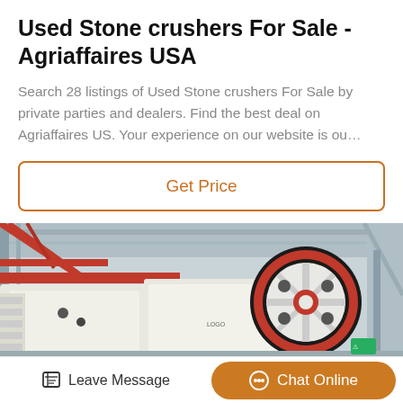Used Stone crushers For Sale - Agriaffaires USA
Search 28 listings of Used Stone crushers For Sale by private parties and dealers. Find the best deal on Agriaffaires US. Your experience on our website is ou…
Get Price
[Figure (photo): Industrial stone crusher machinery in a factory setting, featuring a large red and black flywheel on white crusher equipment with a warehouse/factory interior visible in the background.]
Leave Message
Chat Online